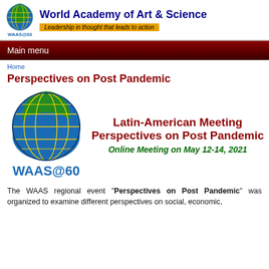World Academy of Art & Science — Leadership in thought that leads to action
Main menu
Home
Perspectives on Post Pandemic
[Figure (logo): WAAS@60 globe logo — green and blue globe with yellow meridian lines, with text WAAS@60 below]
Latin-American Meeting Perspectives on Post Pandemic
Online Meeting on May 12-14, 2021
The WAAS regional event "Perspectives on Post Pandemic" was organized to examine different perspectives on social, economic,